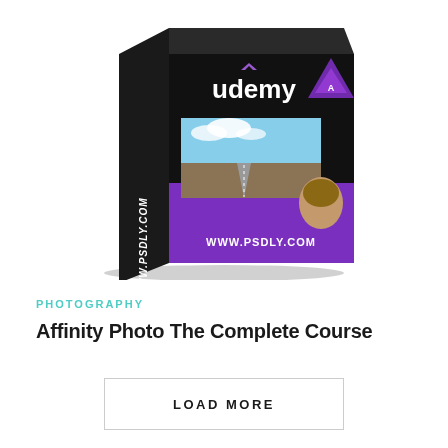[Figure (illustration): A product box mockup with dark/black background showing the Udemy logo at top with a purple chevron icon, the Affinity Photo logo (purple triangular icon) on the right, a screenshot of photo editing software showing a road landscape, a person's face in the lower right corner, and 'WWW.PSDLY.COM' text on both the spine (vertical, italic) and the front bottom. The box has a shadow beneath it and is shown in 3D perspective.]
PHOTOGRAPHY
Affinity Photo The Complete Course
LOAD MORE